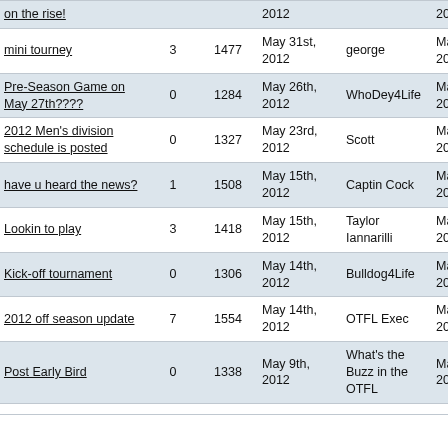| Topic | Replies | Views | Last Post | Last Post By | Started |
| --- | --- | --- | --- | --- | --- |
| on the rise! |  |  | 2012 |  | 2012 |
| mini tourney | 3 | 1477 | May 31st, 2012 | george | May 28th, 2012 |
| Pre-Season Game on May 27th???? | 0 | 1284 | May 26th, 2012 | WhoDey4Life | May 26th, 2012 |
| 2012 Men's division schedule is posted | 0 | 1327 | May 23rd, 2012 | Scott | May 23rd, 2012 |
| have u heard the news? | 1 | 1508 | May 15th, 2012 | Captin Cock | May 14th, 2012 |
| Lookin to play | 3 | 1418 | May 15th, 2012 | Taylor Iannarilli | May 14th, 2012 |
| Kick-off tournament | 0 | 1306 | May 14th, 2012 | Bulldog4Life | May 14th, 2012 |
| 2012 off season update | 7 | 1554 | May 14th, 2012 | OTFL Exec | May 11th, 2012 |
| Post Early Bird | 0 | 1338 | May 9th, 2012 | What's the Buzz in the OTFL | May 9th, 2012 |